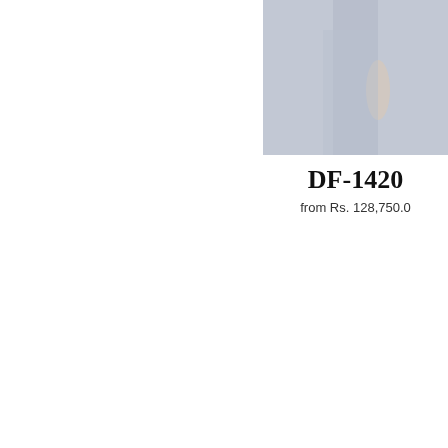[Figure (photo): Partial product photo of a person wearing a grey/blue suit, cropped to show lower body and arm against grey background]
DF-1420
from Rs. 128,750.0
← BACK TO DESIGNER SUITS
Press
Store Locator
Shipping & Returns
Dressing Tips
About Us